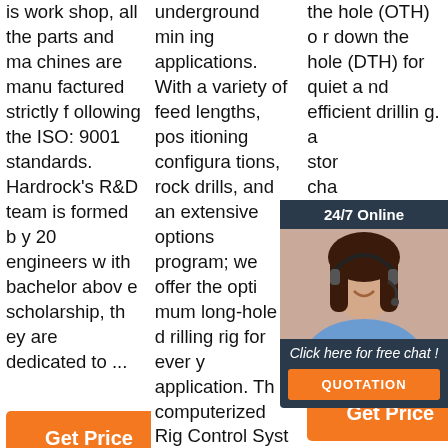is work shop, all the parts and machines are manufactured strictly following the ISO: 9001 standards. Hardrock's R&D team is formed by 20 engineers with bachelor above scholarship, they are dedicated to ...
underground mining applications. With a variety of feed lengths, positioning configurations, rock drills, and an extensive options program; we offer the optimum long-hole drilling rig for every application. The computerized Rig Control System, RCS ...
the hole (OTH) or down the hole (DTH) for quiet and efficient drilling. a stor cha Dril drill s m mea bina own"
[Figure (other): 24/7 Online chat widget with photo of customer service agent and QUOTATION button]
Get Price
Get Price
Get Price